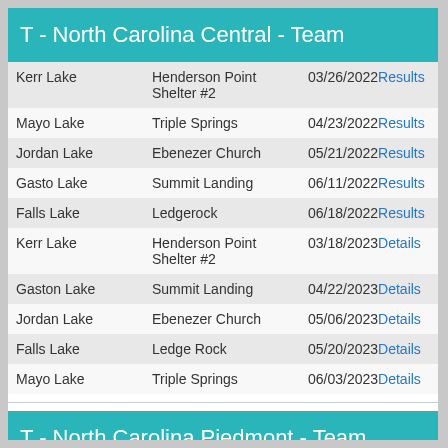T - North Carolina Central - Team
| Lake | Location | Date/Link |
| --- | --- | --- |
| Kerr Lake | Henderson Point Shelter #2 | 03/26/2022 Results |
| Mayo Lake | Triple Springs | 04/23/2022 Results |
| Jordan Lake | Ebenezer Church | 05/21/2022 Results |
| Gasto Lake | Summit Landing | 06/11/2022 Results |
| Falls Lake | Ledgerock | 06/18/2022 Results |
| Kerr Lake | Henderson Point Shelter #2 | 03/18/2023 Details |
| Gaston Lake | Summit Landing | 04/22/2023 Details |
| Jordan Lake | Ebenezer Church | 05/06/2023 Details |
| Falls Lake | Ledge Rock | 05/20/2023 Details |
| Mayo Lake | Triple Springs | 06/03/2023 Details |
T - North Carolina Piedmont - Team